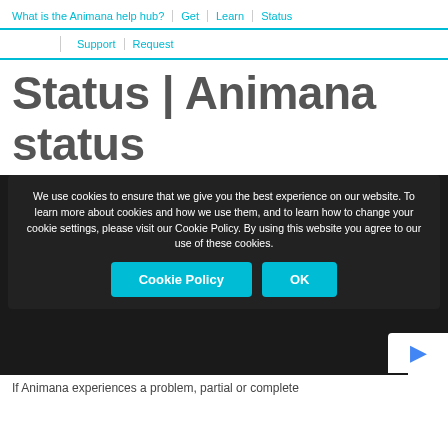What is the Animana help hub? | Get | Learn | Status | Support | Request
Status | Animana status
[Figure (screenshot): Cookie consent banner overlay on dark background, with text about cookie policy and two buttons: Cookie Policy and OK. Also shows partial text 'Always insightful' and 'Instant in... ...s of Animana' behind the banner.]
If Animana experiences a problem, partial or complete